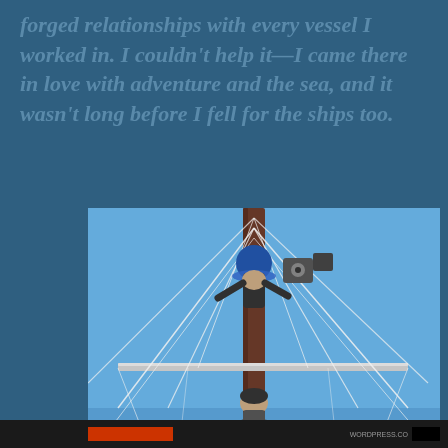forged relationships with every vessel I worked in. I couldn't help it—I came there in love with adventure and the sea, and it wasn't long before I fell for the ships too.
[Figure (photo): View from below looking up at a tall ship's mast. Two people are climbing the rigging. One person near the top is wearing a blue hard hat. The sky is bright blue.]
Privacy & Cookies: This site uses cookies. By continuing to use this website, you agree to their use.
To find out more, including how to control cookies, see here: Cookie Policy